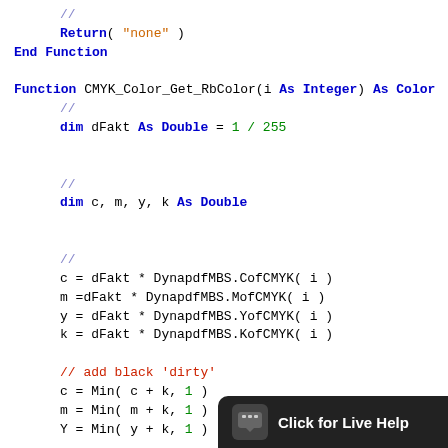// Return( "none" ) End Function
Function CMYK_Color_Get_RbColor(i As Integer) As Color // dim dFakt As Double = 1 / 255 // dim c, m, y, k As Double // c = dFakt * DynapdfMBS.CofCMYK( i ) m =dFakt * DynapdfMBS.MofCMYK( i ) y = dFakt * DynapdfMBS.YofCMYK( i ) k = dFakt * DynapdfMBS.KofCMYK( i ) // add black 'dirty' c = Min( c + k, 1 ) m = Min( m + k, 1 ) Y = Min( y + k, 1 ) // Return( CMY( c, m, y ) ) End Function
Function CMYK_Color_Get_Y... //